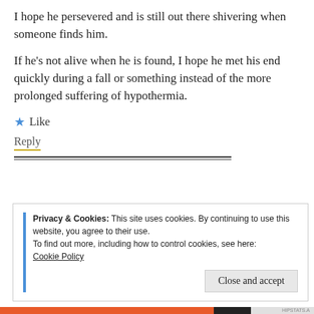I hope he persevered and is still out there shivering when someone finds him.
If he's not alive when he is found, I hope he met his end quickly during a fall or something instead of the more prolonged suffering of hypothermia.
★ Like
Reply
Privacy & Cookies: This site uses cookies. By continuing to use this website, you agree to their use.
To find out more, including how to control cookies, see here:
Cookie Policy
Close and accept